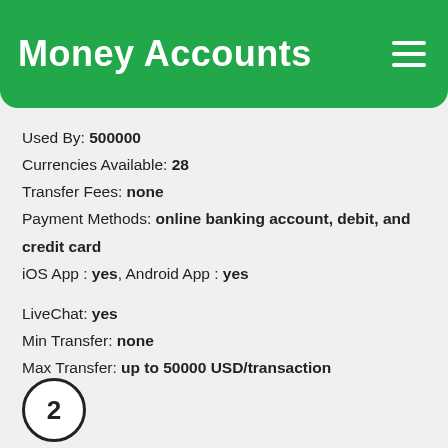Money Accounts
Used By: 500000
Currencies Available: 28
Transfer Fees: none
Payment Methods: online banking account, debit, and credit card
iOS App : yes, Android App : yes
LiveChat: yes
Min Transfer: none
Max Transfer: up to 50000 USD/transaction
Year Founded: 1996